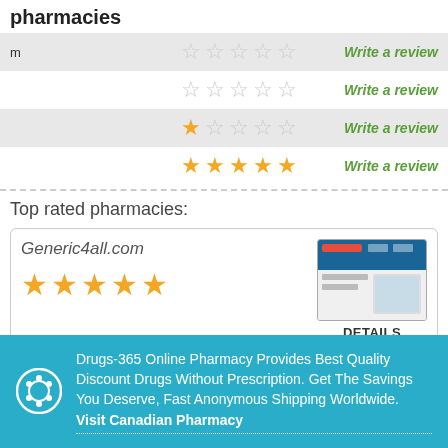pharmacies
m — ☆☆☆☆☆ — Write a review
☆☆☆☆☆ — Write a review
★☆☆☆☆ — Write a review
★★★★★ — Write a review
Top rated pharmacies:
Generic4all.com — DETAILS
[Figure (screenshot): Screenshot thumbnail of Generic4all.com website]
OneClickPharmacy.co.uk
[Figure (screenshot): Screenshot thumbnail of OneClickPharmacy.co.uk website]
Drugs-365 Online Pharmacy Provides Best Quality Discount Drugs Without Prescription. Get The Savings You Deserve, Fast Anonymous Shipping Worldwide. Visit Canadian Pharmacy